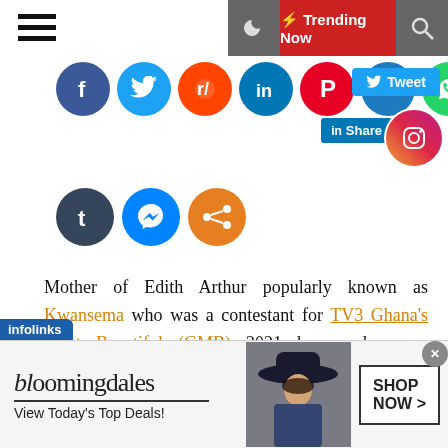[Figure (screenshot): Top navigation bar with hamburger menu, moon icon, Trending Now button in red, and search icon]
[Figure (screenshot): Social media share buttons row: Facebook, Twitter, Reddit, LinkedIn, Pinterest, MeWe, WhatsApp, Tweet button, LinkedIn Share button, Instagram circle]
[Figure (screenshot): Second row of social buttons: Tumblr, Messenger, Share]
Mother of Edith Arthur popularly known as Kwansema who was a contestant for TV3 Ghana's Most Beautiful (GMB) 2021 has made some shocking revelations.
The flagship program which seeks to showcase the talents of contestants has taken another dimension to the utmost surprise of those who listened to Cape Coast's Kastle FM on Saturday.
[Figure (screenshot): Bloomingdale's advertisement banner: logo, View Today's Top Deals!, model in hat, SHOP NOW > button]